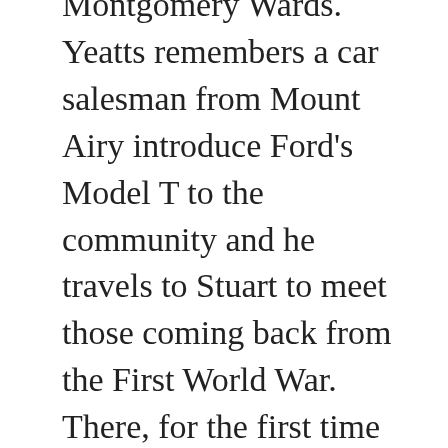Montgomery Wards. Yeatts remembers a car salesman from Mount Airy introduce Ford's Model T to the community and he travels to Stuart to meet those coming back from the First World War. There, for the first time in his life, he sees a locomotive, as the iron horse pulls the train into Stuart from the main line in Martinsville. He also remembers the lumbering of the chestnut and watching the trees hauled away as the blight killed the forest that dominated these parts. In these stories, we learn about old mills